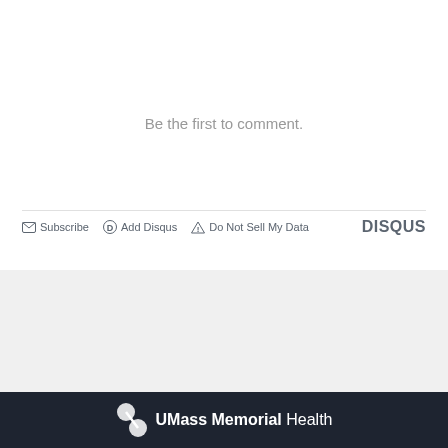Be the first to comment.
Subscribe  Add Disqus  Do Not Sell My Data  DISQUS
[Figure (logo): UMass Memorial Health logo with white icon and text on dark navy background]